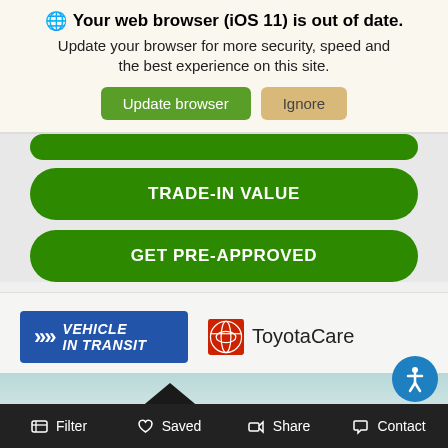🌐 Your web browser (iOS 11) is out of date. Update your browser for more security, speed and the best experience on this site.
Update browser | Ignore
TRADE-IN VALUE
GET PRE-APPROVED
[Figure (logo): Vehicle In Transit badge (blue rectangle with double chevrons and italic text)]
[Figure (logo): ToyotaCare logo with red Toyota oval symbol and ToyotaCare text]
[Figure (photo): Partial Toyota vehicle image with Toyota label]
Filter  Saved  Share  Contact